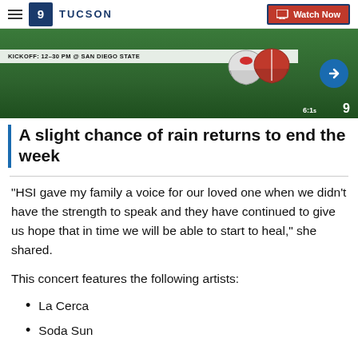TUCSON | Watch Now
[Figure (screenshot): Football broadcast banner showing KICKOFF: 12-30 PM @ SAN DIEGO STATE with football helmets on green background]
A slight chance of rain returns to end the week
"HSI gave my family a voice for our loved one when we didn't have the strength to speak and they have continued to give us hope that in time we will be able to start to heal," she shared.
This concert features the following artists:
La Cerca
Soda Sun